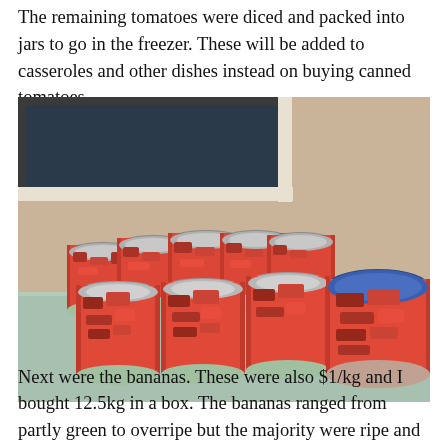The remaining tomatoes were diced and packed into jars to go in the freezer. These will be added to casseroles and other dishes instead on buying canned tomatoes.
[Figure (photo): Photo of multiple glass mason jars filled with diced red tomatoes arranged on a counter, with a large blue-lidded plastic container also filled with diced tomatoes on the right side.]
Next were the bananas. These were also $1/kg and I bought 12.5kg in a box. The bananas ranged from partly green to overripe but the majority were ripe and